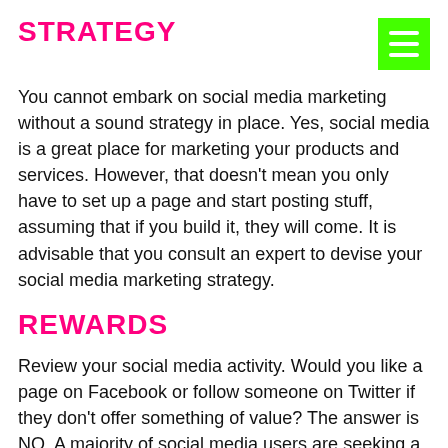STRATEGY
You cannot embark on social media marketing without a sound strategy in place. Yes, social media is a great place for marketing your products and services. However, that doesn't mean you only have to set up a page and start posting stuff, assuming that if you build it, they will come. It is advisable that you consult an expert to devise your social media marketing strategy.
REWARDS
Review your social media activity. Would you like a page on Facebook or follow someone on Twitter if they don't offer something of value? The answer is NO. A majority of social media users are seeking a direct interaction with the brands they like, but they also want something of value in return for the attention they are giving to your presence. You don't